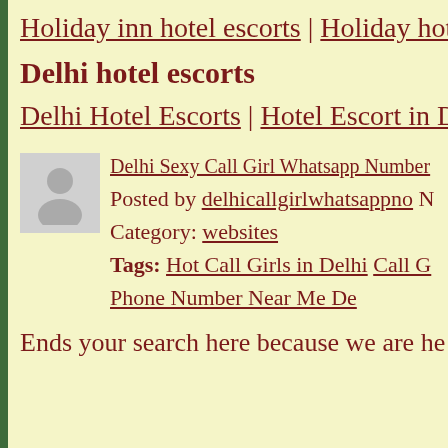Holiday inn hotel escorts | Holiday hotel
Delhi hotel escorts
Delhi Hotel Escorts | Hotel Escort in Del
Delhi Sexy Call Girl Whatsapp Number
Posted by delhicallgirlwhatsappno
Category: websites
Tags: Hot Call Girls in Delhi Call Girl Phone Number Near Me De
Ends your search here because we are he